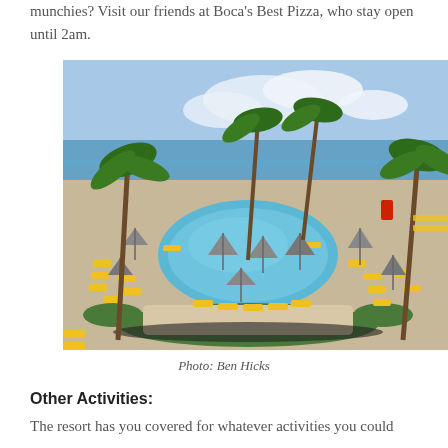munchies? Visit our friends at Boca's Best Pizza, who stay open until 2am.
[Figure (photo): Aerial/elevated view of a resort pool area surrounded by yellow lounge chairs and grey umbrellas, with palm trees and the ocean in the background.]
Photo: Ben Hicks
Other Activities:
The resort has you covered for whatever activities you could